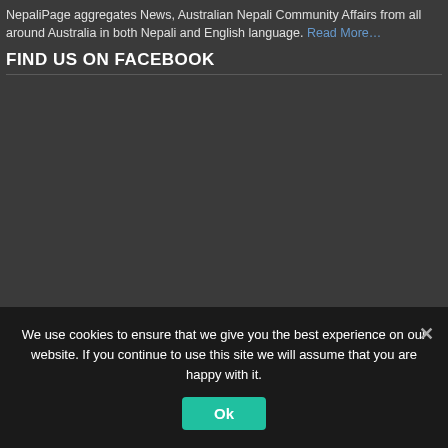NepaliPage aggregates News, Australian Nepali Community Affairs from all around Australia in both Nepali and English language. Read More…
FIND US ON FACEBOOK
[Figure (other): Dark grey empty area representing embedded Facebook widget area]
We use cookies to ensure that we give you the best experience on our website. If you continue to use this site we will assume that you are happy with it.
Ok